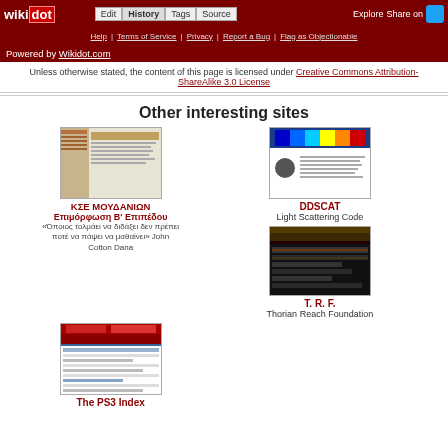wikidot | Edit | History | Tags | Source | Explore | Share on Twitter
Help | Terms of Service | Privacy | Report a Bug | Flag as Objectionable
Powered by Wikidot.com
Unless otherwise stated, the content of this page is licensed under Creative Commons Attribution-ShareAlike 3.0 License
Other interesting sites
[Figure (screenshot): Screenshot thumbnail of KSE MOUDANION website]
ΚΣΕ ΜΟΥΔΑΝΙΩΝ
Επιμόρφωση Β' Επιπέδου
«Όποιος τολμάει να διδάξει δεν πρέπει ποτέ να πάψει να μαθαίνει» John Cotton Dana
[Figure (screenshot): Screenshot thumbnail of DDSCAT website]
DDSCAT
Light Scattering Code
[Figure (screenshot): Screenshot thumbnail of T. R. F. website]
T. R. F.
Thorian Reach Foundation
[Figure (screenshot): Screenshot thumbnail of The PS3 Index website]
The PS3 Index